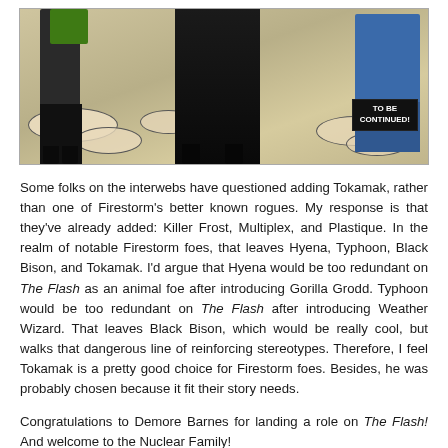[Figure (illustration): Comic book panel showing figures in black costumes/boots with a green and blue costumed figure, smoke/cloud effects in background, with a 'TO BE CONTINUED!' caption box in the lower right.]
Some folks on the interwebs have questioned adding Tokamak, rather than one of Firestorm's better known rogues. My response is that they've already added: Killer Frost, Multiplex, and Plastique. In the realm of notable Firestorm foes, that leaves Hyena, Typhoon, Black Bison, and Tokamak. I'd argue that Hyena would be too redundant on The Flash as an animal foe after introducing Gorilla Grodd. Typhoon would be too redundant on The Flash after introducing Weather Wizard. That leaves Black Bison, which would be really cool, but walks that dangerous line of reinforcing stereotypes. Therefore, I feel Tokamak is a pretty good choice for Firestorm foes. Besides, he was probably chosen because it fit their story needs.
Congratulations to Demore Barnes for landing a role on The Flash! And welcome to the Nuclear Family!
Support Firestorm (and Demore Barnes)! Fan the Flame!